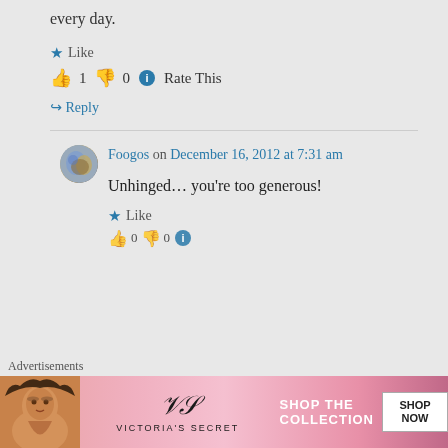every day.
Like
👍 1 👎 0 ℹ Rate This
↩ Reply
Foogos on December 16, 2012 at 7:31 am
Unhinged… you're too generous!
Like
Advertisements
[Figure (photo): Victoria's Secret advertisement banner with a woman's face, VS logo, 'SHOP THE COLLECTION' text, and a 'SHOP NOW' button]